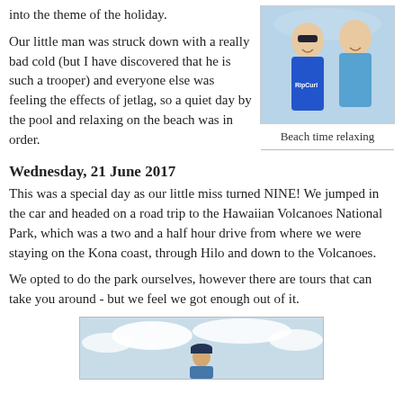into the theme of the holiday.
[Figure (photo): Two people smiling at the beach, one wearing a Rip Curl blue shirt]
Beach time relaxing
Our little man was struck down with a really bad cold (but I have discovered that he is such a trooper) and everyone else was feeling the effects of jetlag, so a quiet day by the pool and relaxing on the beach was in order.
Wednesday, 21 June 2017
This was a special day as our little miss turned NINE! We jumped in the car and headed on a road trip to the Hawaiian Volcanoes National Park, which was a two and a half hour drive from where we were staying on the Kona coast, through Hilo and down to the Volcanoes.
We opted to do the park ourselves, however there are tours that can take you around - but we feel we got enough out of it.
[Figure (photo): Person standing outdoors against a cloudy sky, wearing a cap]